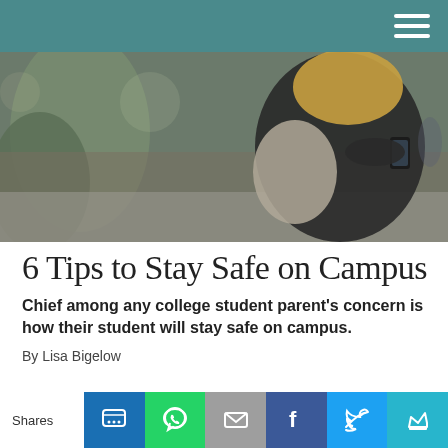[Figure (photo): A female college student with blonde hair, wearing a dark hoodie and carrying a backpack, walking on campus while looking at her smartphone.]
6 Tips to Stay Safe on Campus
Chief among any college student parent’s concern is how their student will stay safe on campus.
By Lisa Bigelow
Shares